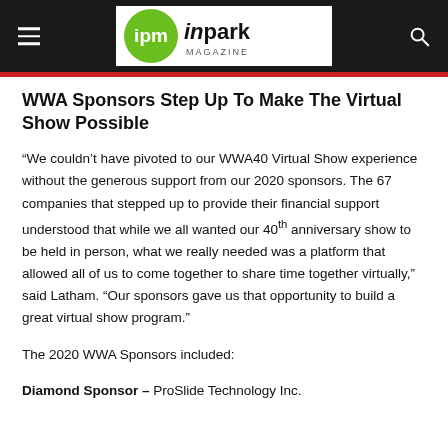ipm inpark MAGAZINE
WWA Sponsors Step Up To Make The Virtual Show Possible
“We couldn’t have pivoted to our WWA40 Virtual Show experience without the generous support from our 2020 sponsors. The 67 companies that stepped up to provide their financial support understood that while we all wanted our 40th anniversary show to be held in person, what we really needed was a platform that allowed all of us to come together to share time together virtually,” said Latham. “Our sponsors gave us that opportunity to build a great virtual show program.”
The 2020 WWA Sponsors included:
Diamond Sponsor – ProSlide Technology Inc.